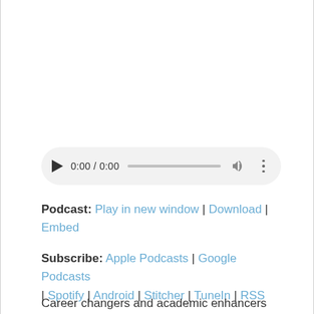[Figure (other): Audio player widget with play button, time display 0:00 / 0:00, progress bar, volume icon, and more options icon on a rounded gray background]
Podcast: Play in new window | Download | Embed
Subscribe: Apple Podcasts | Google Podcasts | Spotify | Android | Stitcher | TuneIn | RSS
Career changers and academic enhancers on